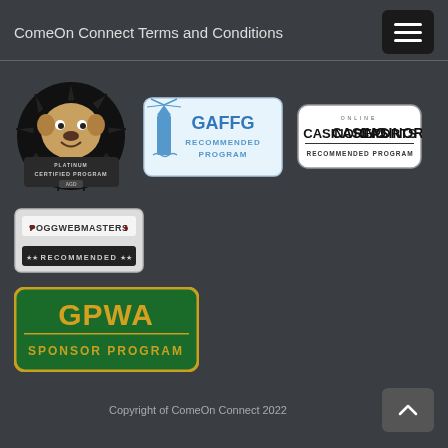ComeOn Connect Terms and Conditions
[Figure (logo): AGD Platinum Certified Program badge — bulldog mascot logo]
[Figure (logo): GAFFG Recommended Program badge — lighthouse icon with blue text]
[Figure (logo): Online CasinoReports Recommended Program badge — black and white rounded rectangle]
[Figure (logo): POGG Webmasters Recommended badge — grey shield style badge]
[Figure (logo): GPWA Sponsor Program badge — green rounded rectangle with gold text]
Copyright of ComeOn Connect 2022